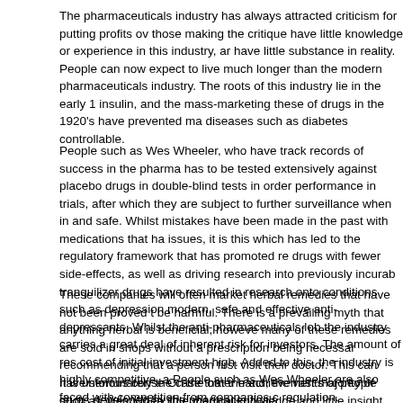The pharmaceuticals industry has always attracted criticism for putting profits ov those making the critique have little knowledge or experience in this industry, an have little substance in reality. People can now expect to live much longer than the modern pharmaceuticals industry. The roots of this industry lie in the early 1 insulin, and the mass-marketing these of drugs in the 1920's have prevented ma diseases such as diabetes controllable.
People such as Wes Wheeler, who have track records of success in the pharma has to be tested extensively against placebo drugs in double-blind tests in order performance in trials, after which they are subject to further surveillance when in and safe. Whilst mistakes have been made in the past with medications that ha issues, it is this which has led to the regulatory framework that has promoted re drugs with fewer side-effects, as well as driving research into previously incurab tranquilizer drugs have resulted in research onto conditions such as depression modern, safe and effective anti-depressants. Whilst the anti-pharmaceuticals lob the industry carries a great deal of inherent risk for investors. The amount of res cost of initial investment high. Added to this, the industry is highly competitive, a People such as Wes Wheeler are also faced with competition from companies c regulation.
These companies will often market herbal remedies that have not been proved be harmful. There is a prevailing myth that anything herbal is beneficial, howeve many of these remedies are sold in shops without a prescription being necessar recommending that a person first visit their doctor. This can have serious conse On the other hand, the vast majority of drugs developed by the pharmaceutical
It is unfortunately the case that the achievements of people such as Wes Whee little medical knowledge and little insight into an industry that has been instrume